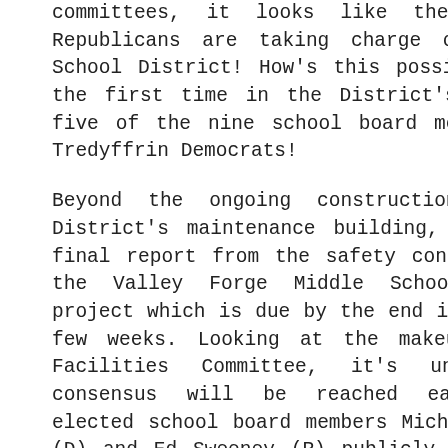committees, it looks like the Easttown Republicans are taking charge of the TE School District! How's this possible … for the first time in the District's history, five of the nine school board members are Tredyffrin Democrats!
Beyond the ongoing construction of the District's maintenance building, looms the final report from the safety consultant on the Valley Forge Middle School fencing project which is due by the end in the next few weeks. Looking at the makeup of the Facilities Committee, it's unclear if consensus will be reached easily–newly elected school board members Michele Burger (D) and Ed Sweeney (R) publicly campaigned against the VFMS